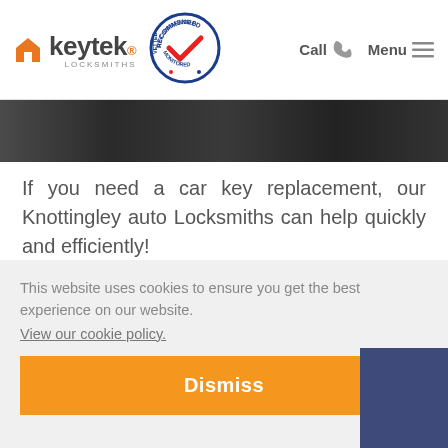keytek LOCKSMITHS — Recommended Vetted Monitored badge — Call | Menu
[Figure (photo): Dark photograph strip showing partial image behind navigation bar]
If you need a car key replacement, our Knottingley auto Locksmiths can help quickly and efficiently!
Whether you need a car key replacement because you have lost your car keys, your [keys were damaged/stolen — partially obscured] ped [auto — partially obscured]
This website uses cookies to ensure you get the best experience on our website.
View our cookie policy.
Dismiss